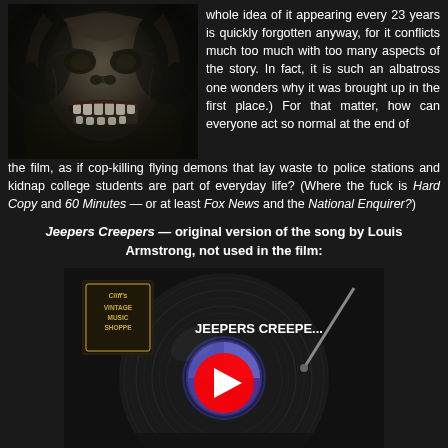[Figure (photo): Black and white photo of a monstrous creature face (werewolf/demon) with sharp teeth and dark features]
whole idea of it appearing every 23 years is quickly forgotten anyway, for it conflicts much too much with too many aspects of the story. In fact, it is such an albatross one wonders why it was brought up in the first place.) For that matter, how can everyone act so normal at the end of the film, as if cop-killing flying demons that lay waste to police stations and kidnap college students are part of everyday life? (Where the fuck is Hard Copy and 60 Minutes — or at least Fox News and the National Enquirer?)
Jeepers Creepers — original version of the song by Louis Armstrong, not used in the film:
[Figure (screenshot): YouTube video thumbnail showing a vinyl record on a turntable with a YouTube play button overlay. Title text reads 'JEEPERS CREEPE...' and shows a logo for 'Cliff's Vintage Music Shoppe']